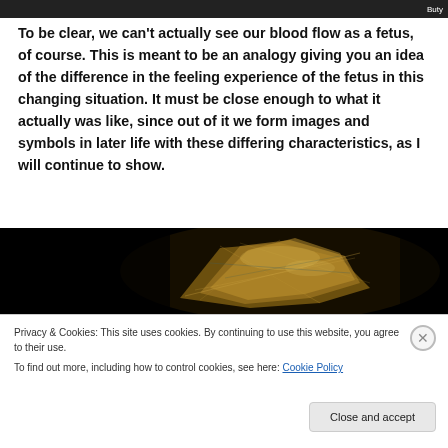Buty
To be clear, we can't actually see our blood flow as a fetus, of course. This is meant to be an analogy giving you an idea of the difference in the feeling experience of the fetus in this changing situation. It must be close enough to what it actually was like, since out of it we form images and symbols in later life with these differing characteristics, as I will continue to show.
[Figure (photo): Dark background image showing a 3D rendered anatomical or organic structure with golden-brown fibrous or crystalline texture, possibly depicting tissue, muscle, or a biological structure in a scientific visualization style.]
Privacy & Cookies: This site uses cookies. By continuing to use this website, you agree to their use.
To find out more, including how to control cookies, see here: Cookie Policy
Close and accept